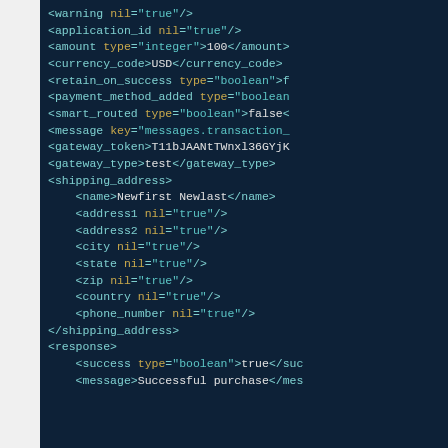[Figure (screenshot): Syntax-highlighted XML code snippet on a dark navy background showing XML elements: warning, application_id, amount, currency_code, retain_on_success, payment_method_added, smart_routed, message, gateway_token, gateway_type, shipping_address (with child elements: name, address1, address2, city, state, zip, country, phone_number), and response (with child elements: success, message).]